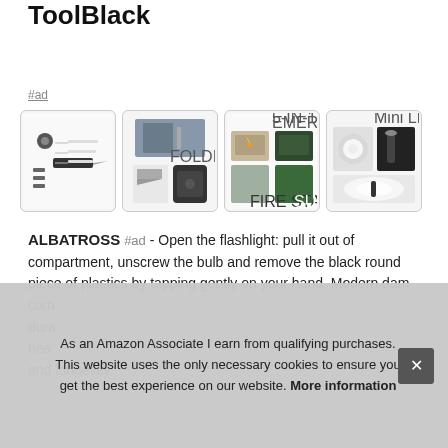ToolBlack
#ad
[Figure (photo): Four product images showing a multi-tool pocket knife, a folding knife with black handle, a 5-in-1 multi-function emergency survival tactical pocket knife, and a mini LED flashlight]
ALBATROSS #ad - Open the flashlight: pull it out of compartment, unscrew the bulb and remove the black round piece of plastics by tapping gently on your hand. Modern dam... com... dura... hea... and longevity.
As an Amazon Associate I earn from qualifying purchases. This website uses the only necessary cookies to ensure you get the best experience on our website. More information